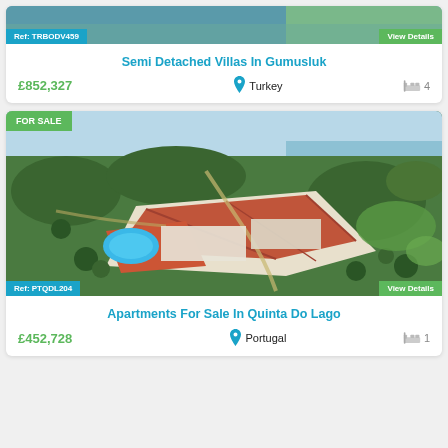[Figure (photo): Aerial/exterior photo of Semi Detached Villas in Gumusluk, Turkey. Image shows ref TRBODV459 and View Details badge.]
Semi Detached Villas In Gumusluk
£852,327  Turkey  4
[Figure (photo): Aerial photo of resort complex in Quinta Do Lago, Portugal with red-tiled roofs, pool, and green surroundings. FOR SALE badge. Ref: PTQDL204. View Details badge.]
Apartments For Sale In Quinta Do Lago
£452,728  Portugal  1